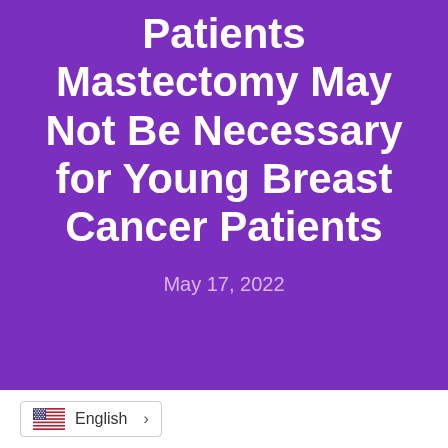Patients Mastectomy May Not Be Necessary for Young Breast Cancer Patients
May 17, 2022
English >